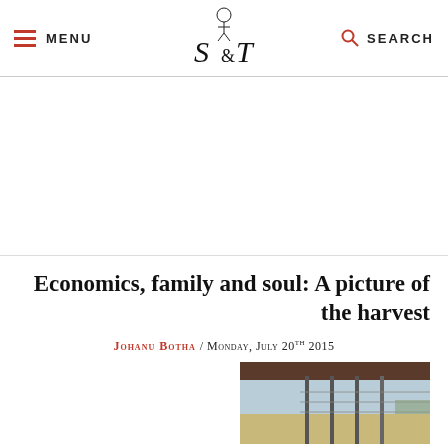MENU | S&T [logo] | SEARCH
[Figure (photo): White advertisement/blank area below header navigation]
Economics, family and soul: A picture of the harvest
Johanu Botha / Monday, July 20th 2015
[Figure (photo): Photograph of a farm scene showing structures/posts with open landscape and sky in the background]